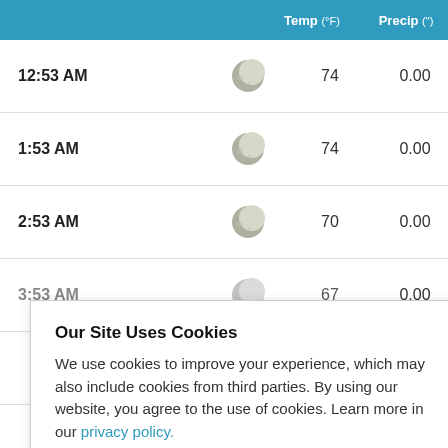| Time | Icon | Temp (°F) | Precip (") |
| --- | --- | --- | --- |
| 12:53 AM | [moon] | 74 | 0.00 |
| 1:53 AM | [moon] | 74 | 0.00 |
| 2:53 AM | [moon] | 70 | 0.00 |
| 3:53 AM | [moon] | 67 | 0.00 |
|  |  |  | 0.00 |
|  |  |  | 0.00 |
|  |  |  | 0.00 |
|  |  |  | 0.00 |
Our Site Uses Cookies
We use cookies to improve your experience, which may also include cookies from third parties. By using our website, you agree to the use of cookies. Learn more in our privacy policy.